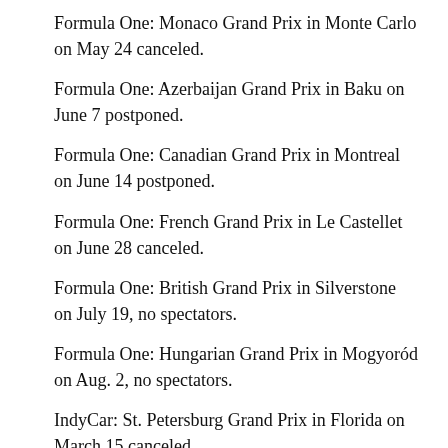Formula One: Monaco Grand Prix in Monte Carlo on May 24 canceled.
Formula One: Azerbaijan Grand Prix in Baku on June 7 postponed.
Formula One: Canadian Grand Prix in Montreal on June 14 postponed.
Formula One: French Grand Prix in Le Castellet on June 28 canceled.
Formula One: British Grand Prix in Silverstone on July 19, no spectators.
Formula One: Hungarian Grand Prix in Mogyoród on Aug. 2, no spectators.
IndyCar: St. Petersburg Grand Prix in Florida on March 15 canceled.
IndyCar: Alabama Grand Prix in Birmingham on April